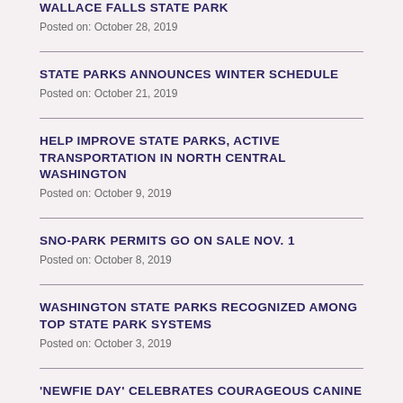WALLACE FALLS STATE PARK
Posted on: October 28, 2019
STATE PARKS ANNOUNCES WINTER SCHEDULE
Posted on: October 21, 2019
HELP IMPROVE STATE PARKS, ACTIVE TRANSPORTATION IN NORTH CENTRAL WASHINGTON
Posted on: October 9, 2019
SNO-PARK PERMITS GO ON SALE NOV. 1
Posted on: October 8, 2019
WASHINGTON STATE PARKS RECOGNIZED AMONG TOP STATE PARK SYSTEMS
Posted on: October 3, 2019
'NEWFIE DAY' CELEBRATES COURAGEOUS CANINE FROM CORPS OF DISCOVERY
Posted on: October 2, 2019